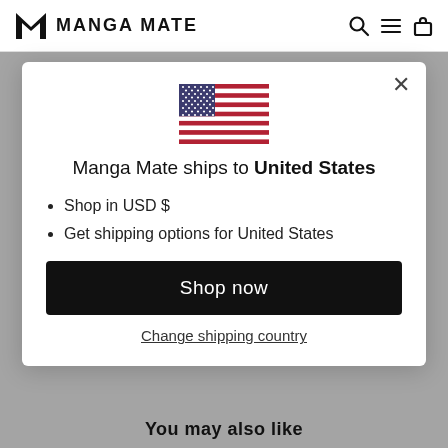MANGA MATE
[Figure (illustration): US flag SVG icon centered in modal]
Manga Mate ships to United States
Shop in USD $
Get shipping options for United States
Shop now
Change shipping country
You may also like